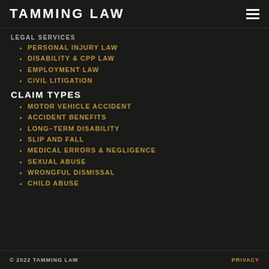TAMMING LAW
LEGAL SERVICES
PERSONAL INJURY LAW
DISABILITY & CPP LAW
EMPLOYMENT LAW
CIVIL LITIGATION
CLAIM TYPES
MOTOR VEHICLE ACCIDENT
ACCIDENT BENEFITS
LONG-TERM DISABILITY
SLIP AND FALL
MEDICAL ERRORS & NEGLIGENCE
SEXUAL ABUSE
WRONGFUL DISMISSAL
CHILD ABUSE
© 2022 TAMMING LAW    PRIVACY